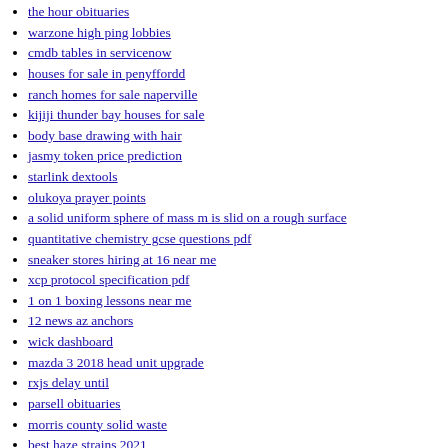the hour obituaries
warzone high ping lobbies
cmdb tables in servicenow
houses for sale in penyffordd
ranch homes for sale naperville
kijiji thunder bay houses for sale
body base drawing with hair
jasmy token price prediction
starlink dextools
olukoya prayer points
a solid uniform sphere of mass m is slid on a rough surface
quantitative chemistry gcse questions pdf
sneaker stores hiring at 16 near me
xcp protocol specification pdf
1 on 1 boxing lessons near me
12 news az anchors
wick dashboard
mazda 3 2018 head unit upgrade
rxjs delay until
parsell obituaries
morris county solid waste
best haze strains 2021
tongits go redeem load website
snapchat dark mode android release date
55 f100 ls swap